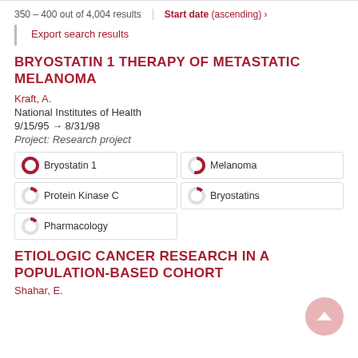350 – 400 out of 4,004 results
Start date (ascending) ›
Export search results
BRYOSTATIN 1 THERAPY OF METASTATIC MELANOMA
Kraft, A.
National Institutes of Health
9/15/95 → 8/31/98
Project: Research project
Bryostatin 1
Melanoma
Protein Kinase C
Bryostatins
Pharmacology
ETIOLOGIC CANCER RESEARCH IN A POPULATION-BASED COHORT
Shahar, E.